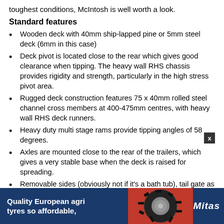toughest conditions, McIntosh is well worth a look.
Standard features
Wooden deck with 40mm ship-lapped pine or 5mm steel deck (6mm in this case)
Deck pivot is located close to the rear which gives good clearance when tipping. The heavy wall RHS chassis provides rigidity and strength, particularly in the high stress pivot area.
Rugged deck construction features 75 x 40mm rolled steel channel cross members at 400-475mm centres, with heavy wall RHS deck runners.
Heavy duty multi stage rams provide tipping angles of 58 degrees.
Axles are mounted close to the rear of the trailers, which gives a very stable base when the deck is raised for spreading.
Removable sides (obviously not if it's a bath tub), tail gate as well as a swivel drawbar and rope rails are all standard.
Spreading ... ndard, although ...
[Figure (infographic): Blue advertisement banner for Mitas quality European agri tyres with tyre image and Mitas logo]